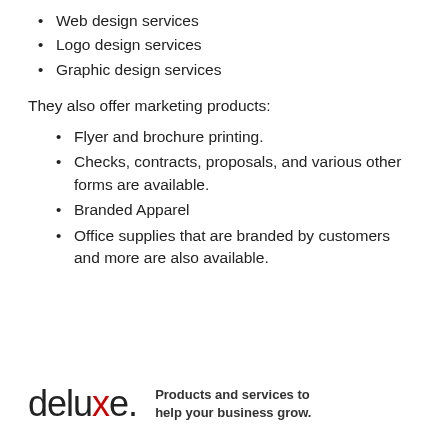Web design services
Logo design services
Graphic design services
They also offer marketing products:
Flyer and brochure printing.
Checks, contracts, proposals, and various other forms are available.
Branded Apparel
Office supplies that are branded by customers and more are also available.
[Figure (logo): Deluxe logo with tagline: Products and services to help your business grow.]